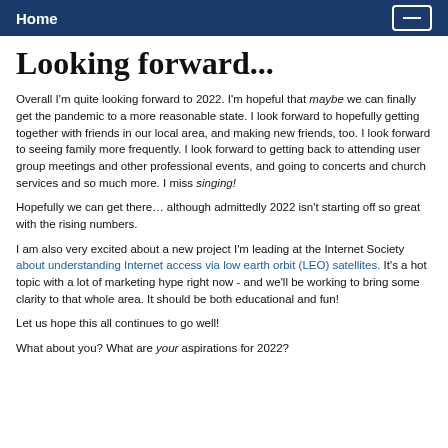Home
Looking forward...
Overall I'm quite looking forward to 2022. I'm hopeful that maybe we can finally get the pandemic to a more reasonable state. I look forward to hopefully getting together with friends in our local area, and making new friends, too. I look forward to seeing family more frequently. I look forward to getting back to attending user group meetings and other professional events, and going to concerts and church services and so much more. I miss singing!
Hopefully we can get there… although admittedly 2022 isn't starting off so great with the rising numbers.
I am also very excited about a new project I'm leading at the Internet Society about understanding Internet access via low earth orbit (LEO) satellites. It's a hot topic with a lot of marketing hype right now - and we'll be working to bring some clarity to that whole area. It should be both educational and fun!
Let us hope this all continues to go well!
What about you? What are your aspirations for 2022?